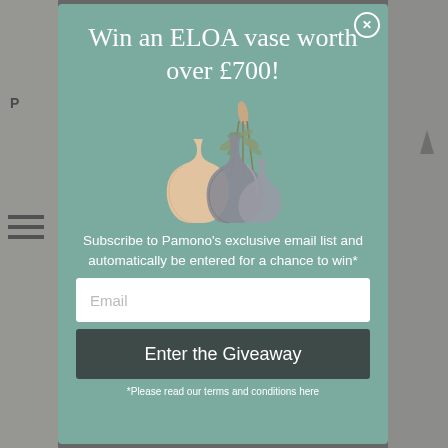Win an ELOA vase worth over £700!
[Figure (illustration): Three decorative ELOA vases of different shapes and sizes on a teal/sage green background — one tall translucent grey, one short cream/peach, one medium grey with dried plant stems]
Subscribe to Pamono's exclusive email list and automatically be entered for a chance to win*
Email
Enter the Giveaway
*Please read our terms and conditions here